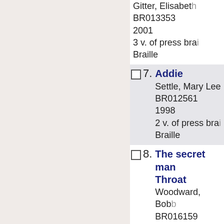Gitter, Elisabeth
BR013353
2001
3 v. of press braille
Braille
7. Addie
Settle, Mary Lee
BR012561
1998
2 v. of press braille
Braille
8. The secret man... Throat
Woodward, Bob
BR016159
2005
2 v. of press braille
Braille
9. The journals of...
Chesnutt, Chark...